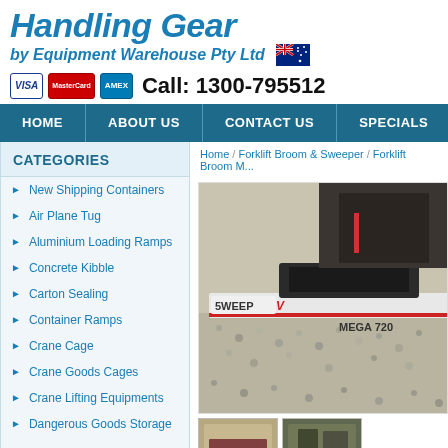Handling Gear by Equipment Warehouse Pty Ltd
Call: 1300-795512
HOME | ABOUT US | CONTACT US | SPECIALS
CATEGORIES
New Shipping Containers
Air Plane Tug
Aluminium Loading Ramps
Concrete Kibble
Carton Sealing
Container Ramps
Crane Cage
Crane Goods Cages
Crane Lifting Equipments
Dangerous Goods Storage
Home / Forklift Broom & Sweeper / Forklift Broom M...
[Figure (photo): Forklift broom sweeper attachment (Sweep-V Mega 720) on gravel surface]
[Figure (photo): Thumbnail image 1 of product]
[Figure (photo): Thumbnail image 2 of product]